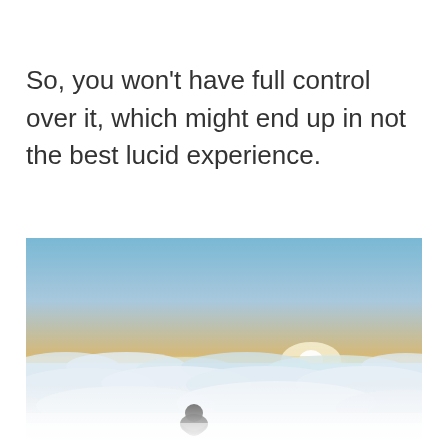So, you won't have full control over it, which might end up in not the best lucid experience.
[Figure (photo): A person sitting on a mountain above the clouds, watching a sunrise or sunset with warm golden and blue sky tones. The lower portion shows the figure reflected or blended into white/light background.]